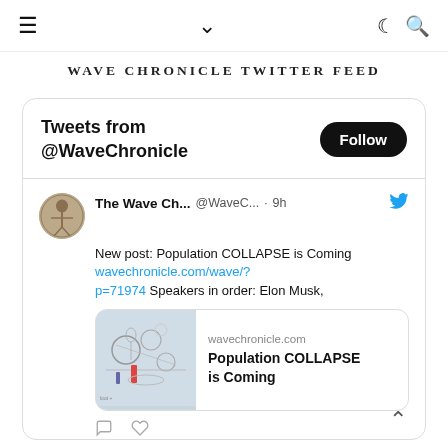≡  ∨  ☾ 🔍
WAVE CHRONICLE TWITTER FEED
Tweets from @WaveChronicle
Follow
The Wave Ch... @WaveC... · 9h
New post: Population COLLAPSE is Coming wavechronicle.com/wave/?p=71974 Speakers in order: Elon Musk,
[Figure (screenshot): Link card preview with mechanical/industrial sketch image and text: wavechronicle.com / Population COLLAPSE is Coming]
The Wave C... @Wav... · Aug 15